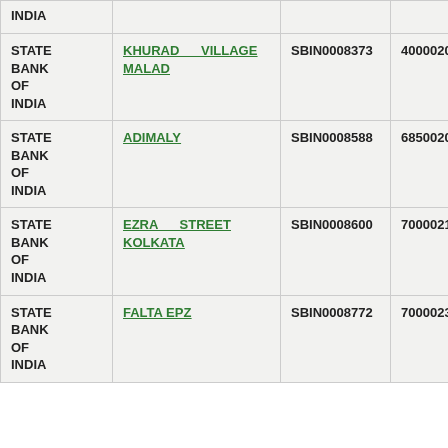| Bank Name | Branch | IFSC | MICR |
| --- | --- | --- | --- |
| STATE BANK OF INDIA | KHURAD VILLAGE MALAD | SBIN0008373 | 400002099 |
| STATE BANK OF INDIA | ADIMALY | SBIN0008588 | 685002004 |
| STATE BANK OF INDIA | EZRA STREET KOLKATA | SBIN0008600 | 700002176 |
| STATE BANK OF INDIA | FALTA EPZ | SBIN0008772 | 700002336 |